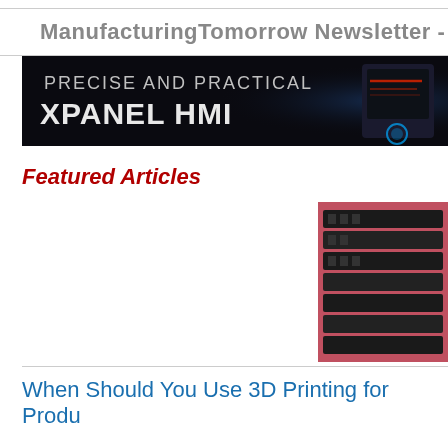ManufacturingTomorrow Newsletter -
[Figure (infographic): Dark banner advertisement showing 'PRECISE AND PRACTICAL XPANEL HMI' text in white/gray on black background with a glowing blue HMI device image on the right]
Featured Articles
[Figure (photo): Photo of black electronic components/PCB modules stacked or arranged in rows on a pink/red surface]
When Should You Use 3D Printing for Produ
There are many reasons why 3D printing may be suitable for and development cycle. But what about using 3D printing f Here are some considerations when deciding whether to